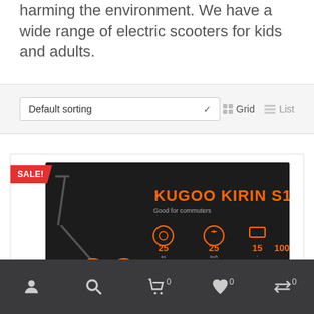harming the environment. We have a wide range of electric scooters for kids and adults.
[Figure (screenshot): Filter bar with Default sorting dropdown and Grid/List view toggles]
[Figure (photo): KUGOO KIRIN S1 electric scooter product card with SALE! badge. Shows scooter image on dark background with specs: 25 Range, 25 Top Speed, 15 Climb Angle, 100 Capacity]
[Figure (screenshot): Mobile bottom navigation bar with icons for account, search, cart (0), wishlist (0), and compare (0)]